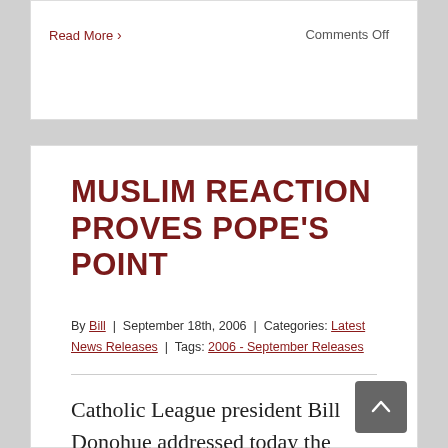Read More ›
Comments Off
MUSLIM REACTION PROVES POPE'S POINT
By Bill | September 18th, 2006 | Categories: Latest News Releases | Tags: 2006 - September Releases
Catholic League president Bill Donohue addressed today the Muslim reaction to Pope Benedict XVI's speech at Regensburg University: "One of the